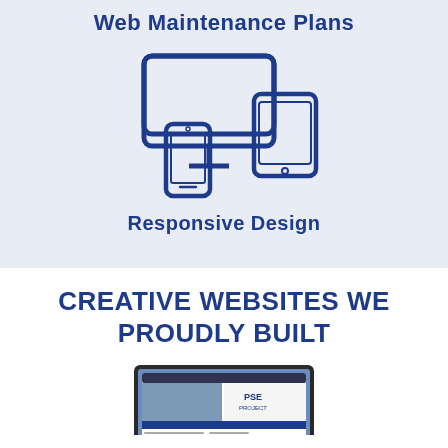Web Maintenance Plans
[Figure (illustration): Icon showing three devices: desktop monitor, smartphone, and tablet in dark blue outline style]
Responsive Design
CREATIVE WEBSITES WE PROUDLY BUILT
[Figure (screenshot): Laptop screen showing a website for PSE Project with a building photo and PSE Project logo]